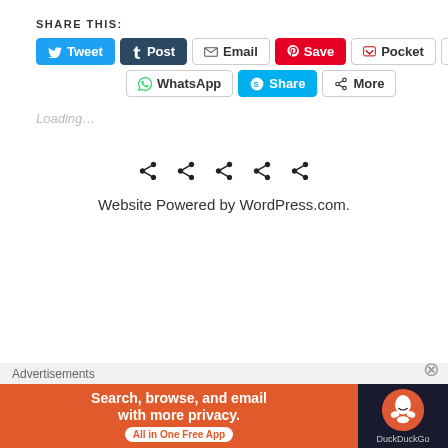SHARE THIS:
[Figure (screenshot): Social sharing buttons row 1: Tweet (Twitter/blue), Post (Tumblr/dark), Email (grey outline), Save (Pinterest/red), Pocket (grey outline), 0 count badge]
[Figure (screenshot): Social sharing buttons row 2: WhatsApp (grey outline), Share (Skype/blue), More (grey outline)]
Loading...
[Figure (infographic): Five share/fork icons in a row]
Website Powered by WordPress.com.
Advertisements
[Figure (screenshot): DuckDuckGo advertisement banner: Search, browse, and email with more privacy. All in One Free App. DuckDuckGo logo on dark right panel.]